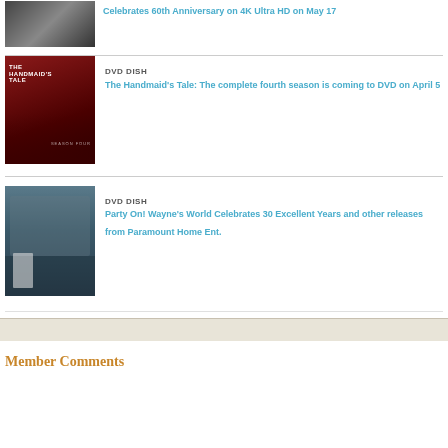[Figure (photo): DVD box set thumbnail image at top of page]
Celebrates 60th Anniversary on 4K Ultra HD on May 17
[Figure (photo): The Handmaid's Tale Season Four promotional image showing woman with red background]
DVD DISH
The Handmaid's Tale: The complete fourth season is coming to DVD on April 5
[Figure (photo): Wayne's World photo showing two people with guitars]
DVD DISH
Party On! Wayne's World Celebrates 30 Excellent Years and other releases from Paramount Home Ent.
Member Comments